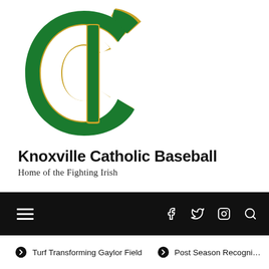[Figure (logo): Knoxville Catholic green and gold stylized C with inner I letter logo]
Knoxville Catholic Baseball
Home of the Fighting Irish
[Figure (screenshot): Black navigation bar with hamburger menu icon on left and social media icons (Facebook, Twitter, Instagram) and search icon on right]
Turf Transforming Gaylor Field
Post Season Recogni...